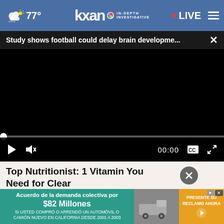kxan IN-DEPTH INVESTIGATIVE — 77° — LIVE
Study shows football could delay brain developme... ×
[Figure (screenshot): Black video player screen showing paused video with progress bar at beginning and playback controls: play button, mute button, 00:00 timestamp, captions button, fullscreen button]
Top Nutritionist: 1 Vitamin You Need for Clear Skin
Dr. Ke...
[Figure (advertisement): Banner advertisement in teal/green: Acuerdo de la demanda colectiva por $82 Millones. SI USTED COMPRÓ O ARRENDÓ UN AUTOMÓVIL O CAMIÓN NUEVO EN CALIFORNIA DESDE 2001 A 2003. PRESENTE SU RECLAMO AHORA with truck image and orange CTA button.]